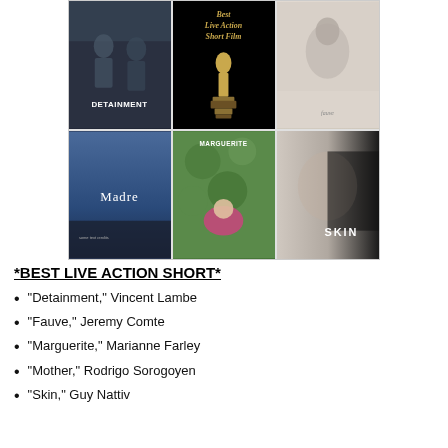[Figure (photo): Collage of five film posters for Best Live Action Short nominees: Detainment, Best Live Action Short Film (Oscar statue), Fauve, Madre, Marguerite, and Skin]
*BEST LIVE ACTION SHORT*
“Detainment,” Vincent Lambe
“Fauve,” Jeremy Comte
“Marguerite,” Marianne Farley
“Mother,” Rodrigo Sorogoyen
“Skin,” Guy Nattiv